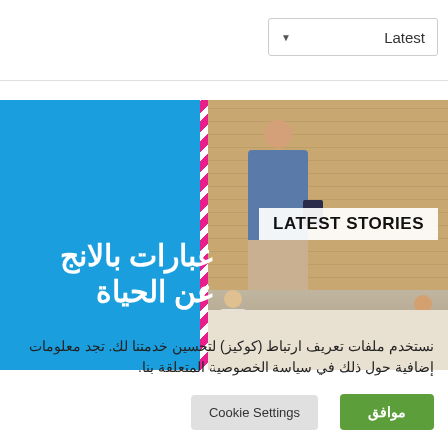Latest
[Figure (screenshot): A website banner with a blue background on the left showing Arabic text about life phrases in English, with a diagonal pink/white stripe divider, and a classroom photo on the right showing a teacher standing holding a book with students seated below. A white box overlay reads 'LATEST STORIES' in bold.]
LATEST STORIES
عبارات بالانج
عن الحياة
أكثر من 37 عبارة متر
نستخدم ملفات تعريف ارتباط (كوكيز) لتحسين خدمتنا لك. تجد معلومات إضافية حول ذلك في سياسة الخصوصية المتعلقة بنا.
موافق
Cookie Settings